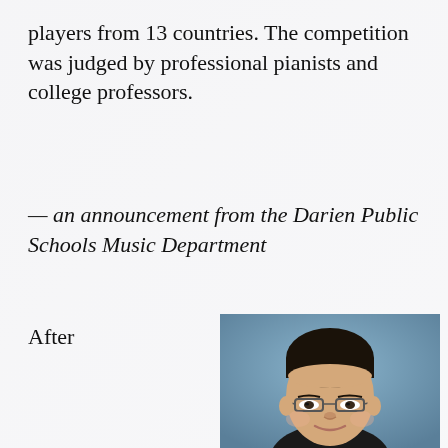players from 13 countries. The competition was judged by professional pianists and college professors.
— an announcement from the Darien Public Schools Music Department
After
[Figure (photo): School portrait photo of a young Asian boy with short dark hair, wearing glasses and smiling, against a blue background.]